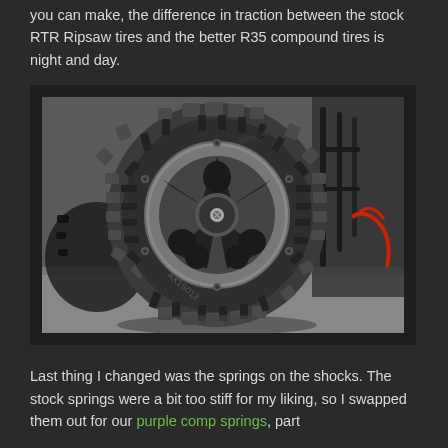you can make, the difference in traction between the stock RTR Ripsaw tires and the better R35 compound tires is night and day.
[Figure (photo): Close-up photo of an RC rock crawler tire — a large aggressive knobby off-road tire mounted on a multi-spoke beadlock wheel. The tire has deep tread lugs and markings reading 'AX1S013'. The RC vehicle chassis with red wiring is visible in the background on the right. The vehicle is sitting on pavement.]
Last thing I changed was the springs on the shocks. The stock springs were a bit too stiff for my liking, so I swapped them out for our purple comp springs, part